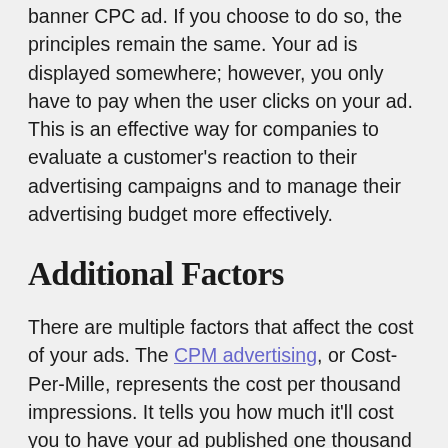You may be a person who prefers to use a banner CPC ad. If you choose to do so, the principles remain the same. Your ad is displayed somewhere; however, you only have to pay when the user clicks on your ad. This is an effective way for companies to evaluate a customer's reaction to their advertising campaigns and to manage their advertising budget more effectively.
Additional Factors
There are multiple factors that affect the cost of your ads. The CPM advertising, or Cost-Per-Mille, represents the cost per thousand impressions. It tells you how much it'll cost you to have your ad published one thousand